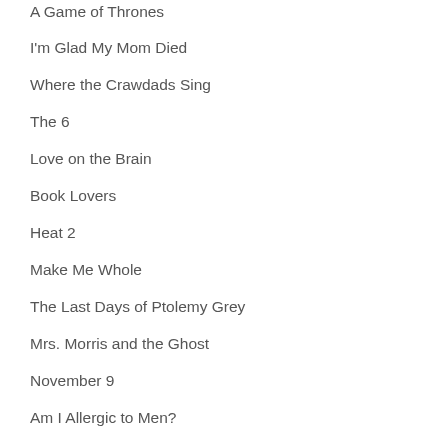A Game of Thrones
I'm Glad My Mom Died
Where the Crawdads Sing
The 6
Love on the Brain
Book Lovers
Heat 2
Make Me Whole
The Last Days of Ptolemy Grey
Mrs. Morris and the Ghost
November 9
Am I Allergic to Men?
Alaska?